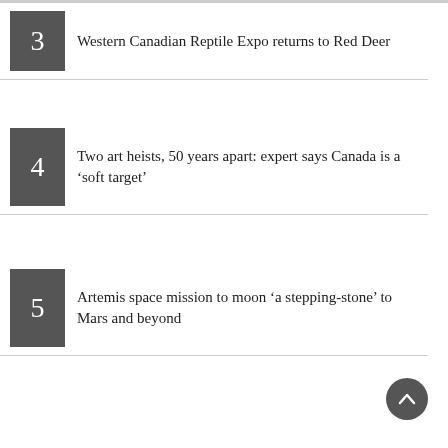3 Western Canadian Reptile Expo returns to Red Deer
4 Two art heists, 50 years apart: expert says Canada is a ‘soft target’
5 Artemis space mission to moon ‘a stepping-stone’ to Mars and beyond